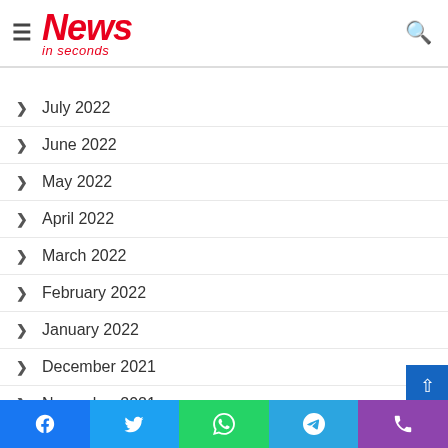News in seconds
July 2022
June 2022
May 2022
April 2022
March 2022
February 2022
January 2022
December 2021
November 2021
October 2021
September 2021
Facebook Twitter WhatsApp Telegram Phone